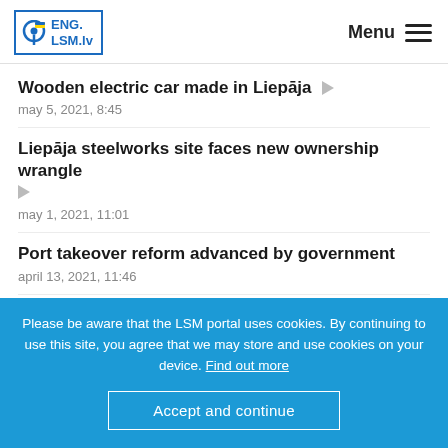ENG. LSM.lv  Menu
Wooden electric car made in Liepāja
may 5, 2021, 8:45
Liepāja steelworks site faces new ownership wrangle
may 1, 2021, 11:01
Port takeover reform advanced by government
april 13, 2021, 11:46
Liepāja tram driver killed at work
Please be aware that the LSM portal uses cookies. By continuing to use this site, you agree that we may store and use cookies on your device. Find out more
Accept and continue